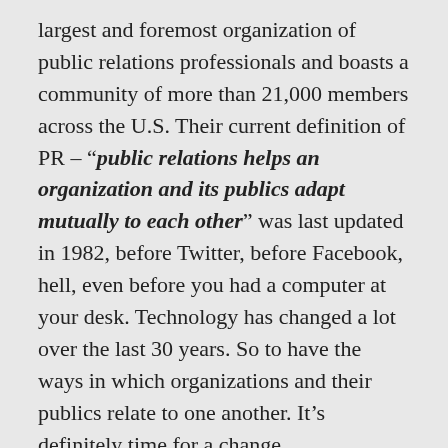largest and foremost organization of public relations professionals and boasts a community of more than 21,000 members across the U.S. Their current definition of PR – "public relations helps an organization and its publics adapt mutually to each other" was last updated in 1982, before Twitter, before Facebook, hell, even before you had a computer at your desk. Technology has changed a lot over the last 30 years. So to have the ways in which organizations and their publics relate to one another. It's definitely time for a change.
Adam Lavelle, a member of the board of the Word of Mouth Marketing Association and chief strategic officer at the iCrossing unit of Hearst, agrees. In the New York Times article linked above, he says:
“Before the rise of social media, public relations